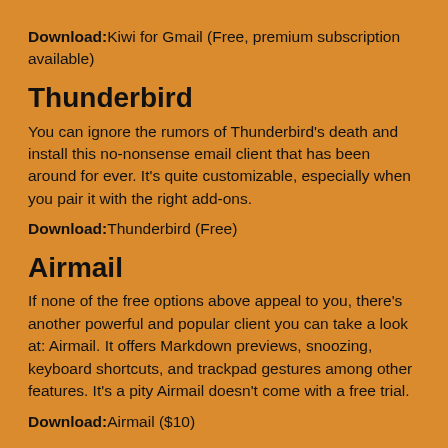Download: Kiwi for Gmail (Free, premium subscription available)
Thunderbird
You can ignore the rumors of Thunderbird's death and install this no-nonsense email client that has been around for ever. It's quite customizable, especially when you pair it with the right add-ons.
Download: Thunderbird (Free)
Airmail
If none of the free options above appeal to you, there's another powerful and popular client you can take a look at: Airmail. It offers Markdown previews, snoozing, keyboard shortcuts, and trackpad gestures among other features. It's a pity Airmail doesn't come with a free trial.
Download: Airmail ($10)